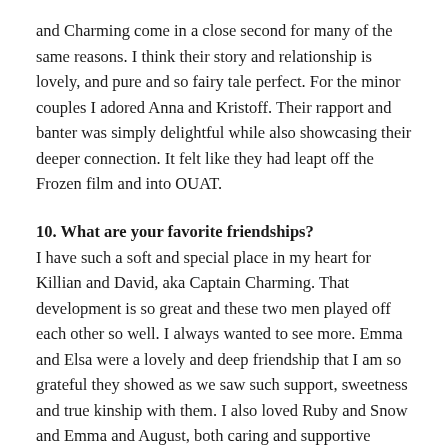and Charming come in a close second for many of the same reasons. I think their story and relationship is lovely, and pure and so fairy tale perfect. For the minor couples I adored Anna and Kristoff. Their rapport and banter was simply delightful while also showcasing their deeper connection. It felt like they had leapt off the Frozen film and into OUAT.
10. What are your favorite friendships?
I have such a soft and special place in my heart for Killian and David, aka Captain Charming. That development is so great and these two men played off each other so well. I always wanted to see more. Emma and Elsa were a lovely and deep friendship that I am so grateful they showed as we saw such support, sweetness and true kinship with them. I also loved Ruby and Snow and Emma and August, both caring and supportive relationships who wanted the best for their friends.
11. Are there any characters you wish you'd seen on the show?
I will always be bewildered and disappointed that they gave their